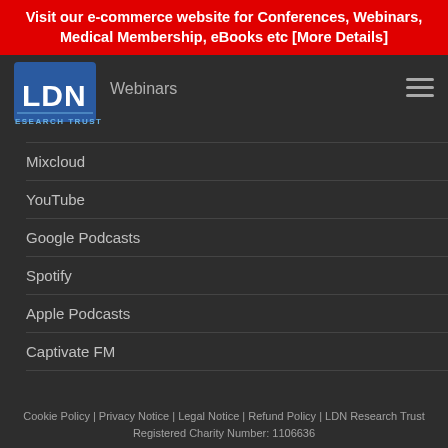Visit our e-commerce website for Conferences, Webinars, Medical Membership, eBooks etc [More Details]
[Figure (logo): LDN Research Trust logo — blue square with white LDN letters and 'RESEARCH TRUST' text below]
Webinars
Mixcloud
YouTube
Google Podcasts
Spotify
Apple Podcasts
Captivate FM
Cookie Policy | Privacy Notice | Legal Notice | Refund Policy | LDN Research Trust Registered Charity Number: 1106636